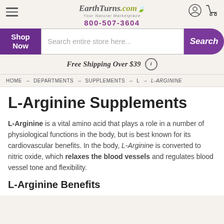EarthTurns.com — Your Natural Marketplace | 800-507-3604
[Figure (screenshot): EarthTurns.com website header with hamburger menu, logo, user/cart icons, phone number, Shop Now button, search bar, free shipping banner, and breadcrumb navigation]
Free Shipping Over $39
HOME → DEPARTMENTS → SUPPLEMENTS → L → L-ARGININE
L-Arginine Supplements
L-Arginine is a vital amino acid that plays a role in a number of physiological functions in the body, but is best known for its cardiovascular benefits. In the body, L-Arginine is converted to nitric oxide, which relaxes the blood vessels and regulates blood vessel tone and flexibility.
L-Arginine Benefits